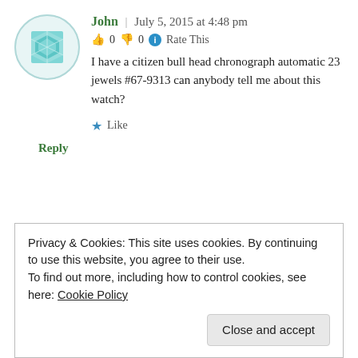[Figure (illustration): Circular avatar/gravatar image with teal/light blue diamond pattern on white background]
John | July 5, 2015 at 4:48 pm
👍 0 👎 0 ℹ Rate This
I have a citizen bull head chronograph automatic 23 jewels #67-9313 can anybody tell me about this watch?
★ Like
Reply
Privacy & Cookies: This site uses cookies. By continuing to use this website, you agree to their use.
To find out more, including how to control cookies, see here: Cookie Policy
Close and accept